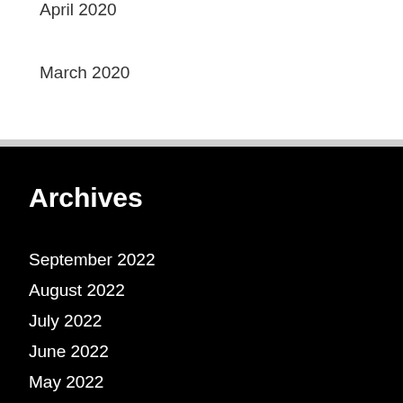April 2020
March 2020
Archives
September 2022
August 2022
July 2022
June 2022
May 2022
April 2022
March 2022